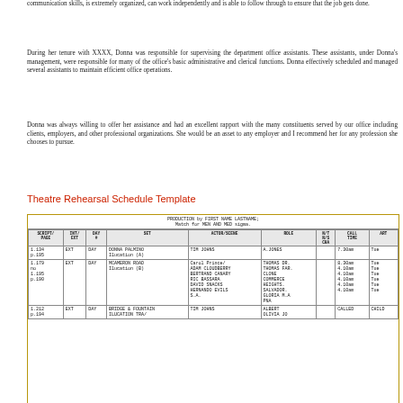communication skills, is extremely organized, can work independently and is able to follow through to ensure that the job gets done.
During her tenure with XXXX, Donna was responsible for supervising the department office assistants. These assistants, under Donna's management, were responsible for many of the office's basic administrative and clerical functions. Donna effectively scheduled and managed several assistants to maintain efficient office operations.
Donna was always willing to offer her assistance and had an excellent rapport with the many constituents served by our office including clients, employers, and other professional organizations. She would be an asset to any employer and I recommend her for any profession she chooses to pursue.
Theatre Rehearsal Schedule Template
| SCRIPT/PAGE | INT/EXT | DAY # | SET | ACTOR/SCENE | ROLE | N/T N/S CHA | CALL TIME | ART |
| --- | --- | --- | --- | --- | --- | --- | --- | --- |
| 1.134 p.195 | EXT | DAY | DONNA PALMINO Ilucation (A) | TIM JOHNS | A.JONES | 7.30am | Tue |
| 1.179 no 1.195 p.190 | EXT | DAY | MCAMERON ROAD Ilucation (B) | Carol Prince/ ADAM CLOUDBERRY BERTRAND CANARY RIC BASSARA DAVID SNACKS HERNANDO EVILS S.A. | THOMAS DR. THOMAS FAR. CLONE COMMERCE HEIGHTS SALVADOR. GLORIA M.A PNA | 8.30am 4.10am 4.10am 4.10am 4.10am 4.10am | Tue Tue Tue Tue Tue Tue |
| 1.212 p.194 | EXT | DAY | BRIDGE & FOUNTAIN ILUCATION TRA/ | TIM JOHNS | ALBERT OLIVIA JO | CALLED CHILD |